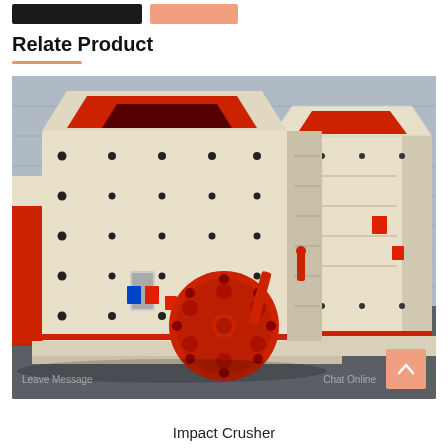Relate Product
[Figure (photo): Industrial impact crusher machines in white and red paint, showing two large heavy-duty crushers side by side in an outdoor industrial yard. The machines have a white steel body with red interior panels, a prominent red flywheel with bolt holes, black belt drive, and multiple bolt/stud mounts on the exterior panels.]
Impact Crusher